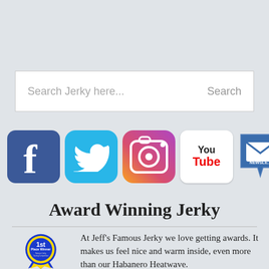[Figure (screenshot): Search bar with placeholder text 'Search Jerky here...' and 'Search' button on the right]
[Figure (infographic): Row of social media icons: Facebook, Twitter, Instagram, YouTube, Newsletter, and an accessibility icon]
Award Winning Jerky
[Figure (illustration): 1st Place Winner ribbon/badge - blue and gold award ribbon]
At Jeff's Famous Jerky we love getting awards. It makes us feel nice and warm inside, even more than our Habanero Heatwave.